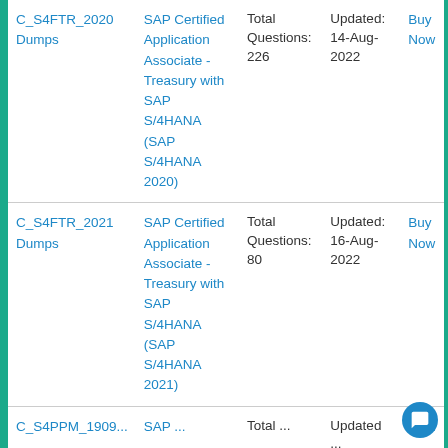| Exam | Description | Questions | Updated | Action |
| --- | --- | --- | --- | --- |
| C_S4FTR_2020 Dumps | SAP Certified Application Associate - Treasury with SAP S/4HANA (SAP S/4HANA 2020) | Total Questions: 226 | Updated: 14-Aug-2022 | Buy Now |
| C_S4FTR_2021 Dumps | SAP Certified Application Associate - Treasury with SAP S/4HANA (SAP S/4HANA 2021) | Total Questions: 80 | Updated: 16-Aug-2022 | Buy Now |
| C_S4PPM_1909... | SAP ... | Total ... | Updated ... | ... |